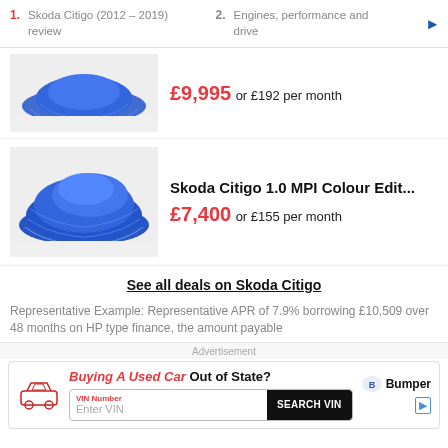1. Skoda Citigo (2012 – 2019) review  2. Engines, performance and drive
[Figure (photo): Car covered with blue cloth/cover, partial view at top of listing]
£9,995 or £192 per month
[Figure (photo): Car covered with blue cloth/cover showing full side profile]
Skoda Citigo 1.0 MPI Colour Edit...
£7,400 or £155 per month
See all deals on Skoda Citigo
Representative Example: Representative APR of 7.9% borrowing £10,509 over 48 months on HP type finance, the amount payable
Advertisement
[Figure (infographic): Bumper advertisement: Buying A Used Car Out of State? with VIN number search field and SEARCH VIN button]